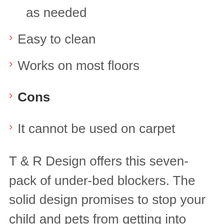as needed
Easy to clean
Works on most floors
Cons
It cannot be used on carpet
T & R Design offers this seven-pack of under-bed blockers. The solid design promises to stop your child and pets from getting into dangerous spaces. The clear, durable panel is designed to protect your child and pets from going behind furniture and under beds, sofas, and cabinets.